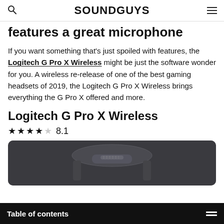SOUNDGUYS
features a great microphone
If you want something that’s just spoiled with features, the Logitech G Pro X Wireless might be just the software wonder for you. A wireless re-release of one of the best gaming headsets of 2019, the Logitech G Pro X Wireless brings everything the G Pro X offered and more.
Logitech G Pro X Wireless
★★★★☆ 8.1
[Figure (photo): Photo of Logitech G Pro X Wireless headset on a dark background, showing the headband cushion area.]
Table of contents